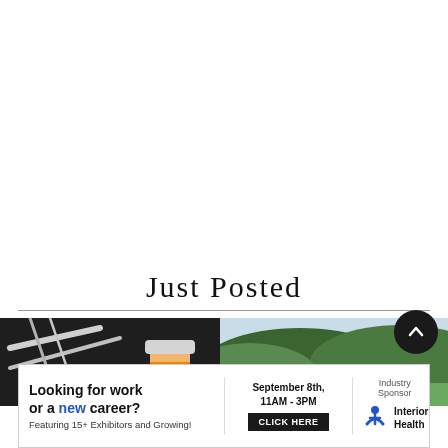Just Posted
[Figure (photo): Photo of medical prescription bottle in a dark background (left)]
[Figure (photo): Aerial photo of green valley/landscape (right)]
[Figure (infographic): Advertisement banner: Looking for work or a new career? Featuring 15+ Exhibitors and Growing! September 8th, 11AM-3PM, CLICK HERE. Industry Sponsor: Interior Health]